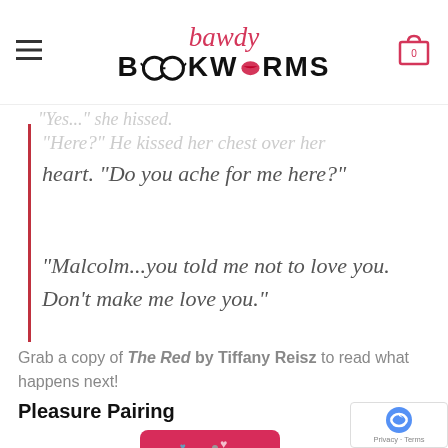bawdy BOOKWORMS
"Yes..." she hissed.
"Here?" He kissed her chest over her heart. “Do you ache for me here?”
“Malcolm...you told me not to love you. Don’t make me love you.”
Grab a copy of The Red by Tiffany Reisz to read what happens next!
Pleasure Pairing
[Figure (photo): Product photo of a Lovehoney Oh! box in pink/red with hearts pattern and a round black tag]